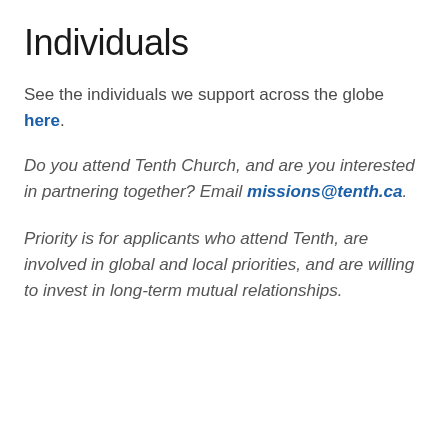Individuals
See the individuals we support across the globe here.
Do you attend Tenth Church, and are you interested in partnering together? Email missions@tenth.ca.
Priority is for applicants who attend Tenth, are involved in global and local priorities, and are willing to invest in long-term mutual relationships.